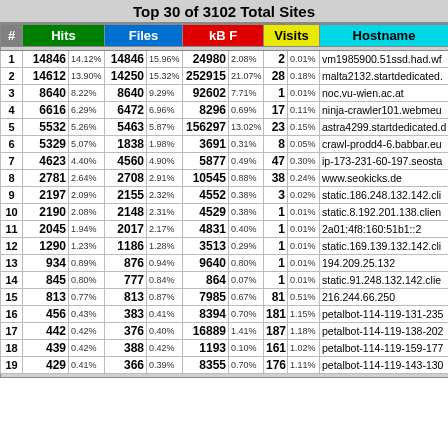Top 30 of 3102 Total Sites
| # | Hits |  | Files |  | kB F |  | Visits |  | Hostname |
| --- | --- | --- | --- | --- | --- | --- | --- | --- | --- |
| 1 | 14846 | 14.12% | 14846 | 15.96% | 24980 | 2.08% | 2 | 0.01% | vm1985900.51ssd.had.wf |
| 2 | 14612 | 13.90% | 14250 | 15.32% | 252915 | 21.07% | 28 | 0.18% | malta2132.startdedicated. |
| 3 | 8640 | 8.22% | 8640 | 9.29% | 92602 | 7.71% | 1 | 0.01% | noc.vu-wien.ac.at |
| 4 | 6616 | 6.29% | 6472 | 6.96% | 8296 | 0.69% | 17 | 0.11% | ninja-crawler101.webmeu |
| 5 | 5532 | 5.26% | 5463 | 5.87% | 156297 | 13.02% | 23 | 0.15% | astra4299.startdedicated.d |
| 6 | 5329 | 5.07% | 1838 | 1.98% | 3691 | 0.31% | 8 | 0.05% | crawl-prodd4-6.babbar.eu |
| 7 | 4623 | 4.40% | 4560 | 4.90% | 5877 | 0.49% | 47 | 0.30% | ip-173-231-60-197.seosta |
| 8 | 2781 | 2.64% | 2708 | 2.91% | 10545 | 0.88% | 38 | 0.24% | www.seokicks.de |
| 9 | 2197 | 2.09% | 2155 | 2.32% | 4552 | 0.38% | 3 | 0.02% | static.186.248.132.142.cli |
| 10 | 2190 | 2.08% | 2148 | 2.31% | 4529 | 0.38% | 1 | 0.01% | static.8.192.201.138.clien |
| 11 | 2045 | 1.94% | 2017 | 2.17% | 4831 | 0.40% | 1 | 0.01% | 2a01:4f8:160:51b1::2 |
| 12 | 1290 | 1.23% | 1186 | 1.28% | 3513 | 0.29% | 1 | 0.01% | static.169.139.132.142.cli |
| 13 | 934 | 0.89% | 876 | 0.94% | 9640 | 0.80% | 1 | 0.01% | 194.209.25.132 |
| 14 | 845 | 0.80% | 777 | 0.84% | 864 | 0.07% | 1 | 0.01% | static.91.248.132.142.clie |
| 15 | 813 | 0.77% | 813 | 0.87% | 7985 | 0.67% | 81 | 0.51% | 216.244.66.250 |
| 16 | 456 | 0.43% | 383 | 0.41% | 8394 | 0.70% | 181 | 1.15% | petalbot-114-119-131-235 |
| 17 | 442 | 0.42% | 376 | 0.40% | 16889 | 1.41% | 187 | 1.18% | petalbot-114-119-138-202 |
| 18 | 439 | 0.42% | 388 | 0.42% | 1193 | 0.10% | 161 | 1.02% | petalbot-114-119-159-177 |
| 19 | 429 | 0.41% | 366 | 0.39% | 8355 | 0.70% | 176 | 1.11% | petalbot-114-119-143-130 |